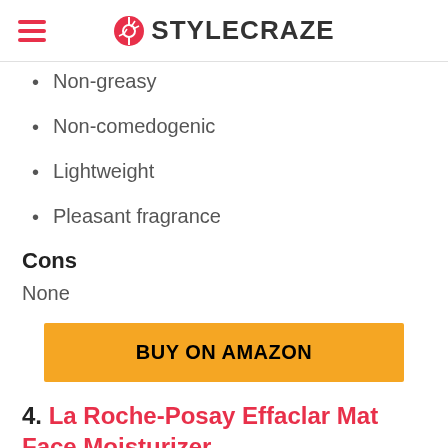STYLECRAZE
Non-greasy
Non-comedogenic
Lightweight
Pleasant fragrance
Cons
None
BUY ON AMAZON
4. La Roche-Posay Effaclar Mat Face Moisturizer
[Figure (photo): Product photo of La Roche-Posay Effaclar Mat Face Moisturizer tube, white/grey tube with blue label stripe, ridged cap at top]